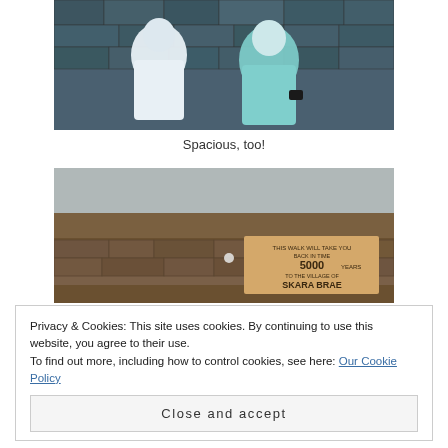[Figure (photo): Two people wearing light-colored jackets standing inside an ancient stone structure with stone walls behind them.]
Spacious, too!
[Figure (photo): Outdoor landscape with a stone wall in the foreground bearing a sign that reads: THIS WALK WILL TAKE YOU BACK IN TIME 5000 YEARS TO THE VILLAGE OF SKARA BRAE]
Privacy & Cookies: This site uses cookies. By continuing to use this website, you agree to their use.
To find out more, including how to control cookies, see here: Our Cookie Policy
Close and accept